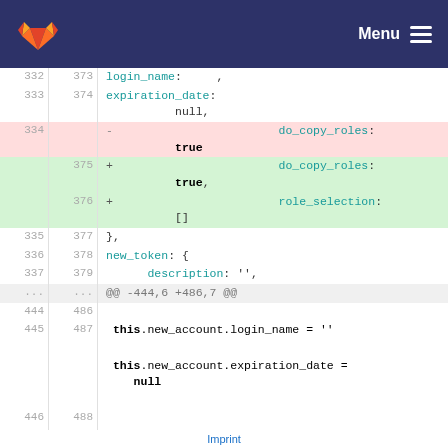GitLab — Menu
[Figure (screenshot): GitLab code diff view showing lines 332-337 and 375-376 and 444-446/486-488 with removed and added lines for do_copy_roles and role_selection fields]
Imprint